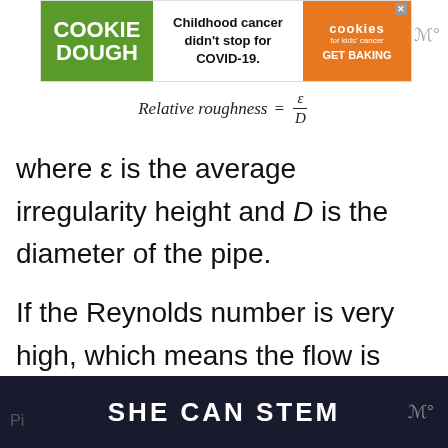[Figure (other): Cookie Dough advertisement banner: 'Childhood cancer didn't stop for COVID-19.' with Cookies for Kids' Cancer GET BAKING branding]
where ε is the average irregularity height and D is the diameter of the pipe.
If the Reynolds number is very high, which means the flow is exceedingly turbulent, the roughness of the pipe no longer needs to be considered.
[Figure (other): SHE CAN STEM advertisement banner on dark background]